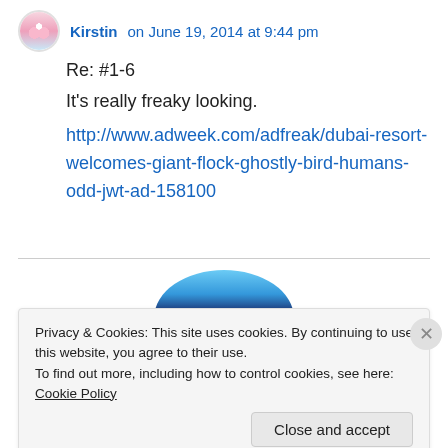Kirstin on June 19, 2014 at 9:44 pm
Re: #1-6
It's really freaky looking.
http://www.adweek.com/adfreak/dubai-resort-welcomes-giant-flock-ghostly-bird-humans-odd-jwt-ad-158100
[Figure (illustration): Partial circular avatar image with colorful design (blue, dark navy, red sections)]
Privacy & Cookies: This site uses cookies. By continuing to use this website, you agree to their use.
To find out more, including how to control cookies, see here: Cookie Policy
Close and accept